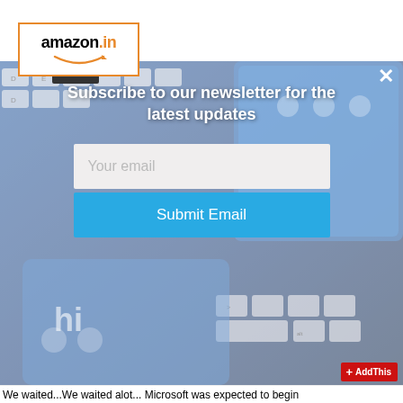[Figure (screenshot): Amazon.in logo with orange border and smile arrow]
[Figure (screenshot): Newsletter subscription modal popup overlay showing keyboard and smartphone background with 'Subscribe to our newsletter for the latest updates' heading, email input field, and Submit Email button]
Subscribe to our newsletter for the latest updates
Your email
Submit Email
We waited...We waited alot... Microsoft was expected to begin